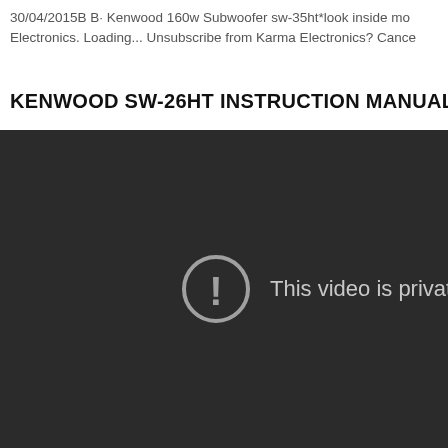30/04/2015B B· Kenwood 160w Subwoofer sw-35ht*look inside mo Electronics. Loading... Unsubscribe from Karma Electronics? Cance
KENWOOD SW-26HT INSTRUCTION MANUAL Po
[Figure (screenshot): Dark video player showing a private video error. A circular exclamation mark icon on the left with text 'This video is privat' on the right, all on a dark background (#2b2b2b).]